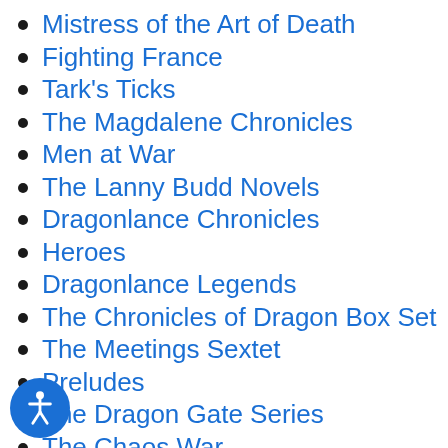Mistress of the Art of Death
Fighting France
Tark's Ticks
The Magdalene Chronicles
Men at War
The Lanny Budd Novels
Dragonlance Chronicles
Heroes
Dragonlance Legends
The Chronicles of Dragon Box Set
The Meetings Sextet
Preludes
The Dragon Gate Series
The Chaos War
Classics
Nexus of the Planes
The Dark Disciple
Seraphim